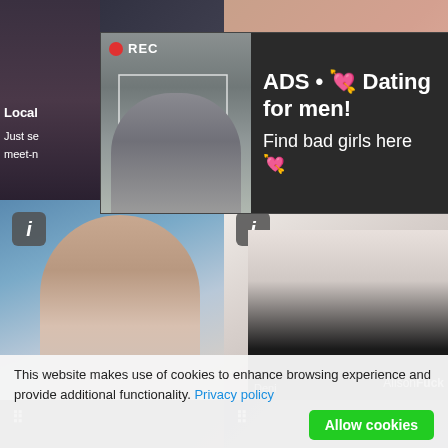[Figure (screenshot): Website screenshot showing adult content thumbnails with a dating ad overlay and cookie consent banner]
ADS • 💘 Dating for men! Find bad girls here 💘
Local
Just se
meet-n
Deni
AlisonFuck
This website makes use of cookies to enhance browsing experience and provide additional functionality. Privacy policy
Allow cookies